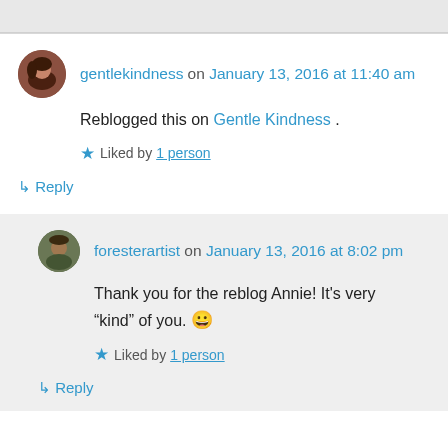gentlekindness on January 13, 2016 at 11:40 am
Reblogged this on Gentle Kindness .
★ Liked by 1 person
↳ Reply
foresterartist on January 13, 2016 at 8:02 pm
Thank you for the reblog Annie! It's very "kind" of you. 😀
★ Liked by 1 person
↳ Reply